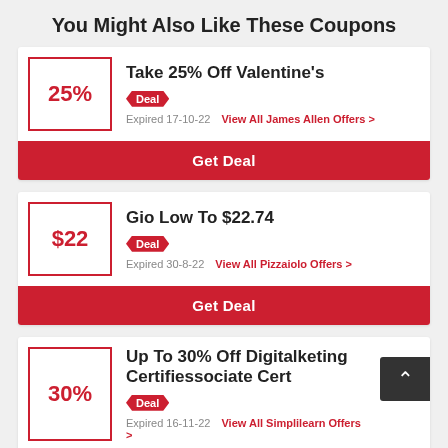You Might Also Like These Coupons
Take 25% Off Valentine's | Deal | Expired 17-10-22 | View All James Allen Offers > | Get Deal
Gio Low To $22.74 | Deal | Expired 30-8-22 | View All Pizzaiolo Offers > | Get Deal
Up To 30% Off Digitalketing Certified Associate Cert | Deal | Expired 16-11-22 | View All Simplilearn Offers >